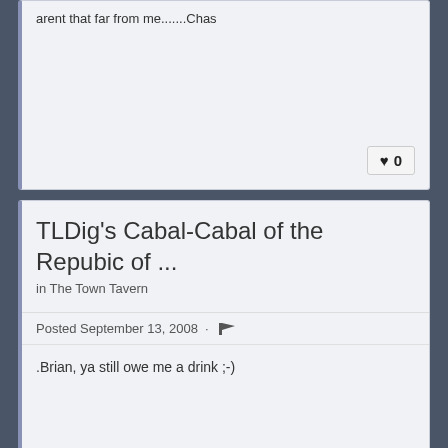arent that far from me.......Chas
♥ 0
TLDig's Cabal-Cabal of the Repubic of ...
in The Town Tavern
Posted September 13, 2008 · 🏴
.Brian, ya still owe me a drink ;-)
♥ 0
Yamaha 225dx Tri-Moto
in General Buy/Sell/Trade Forum
CLOSE
Posted March 11, 2008 · 🏴